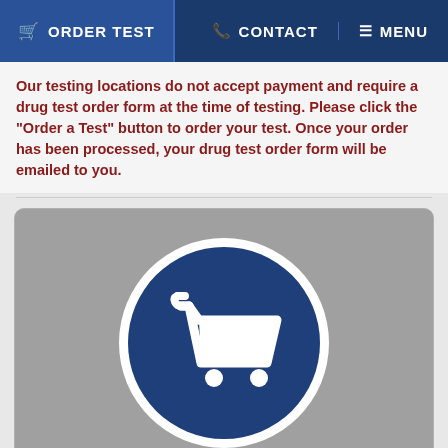ORDER TEST | CONTACT | MENU
Our testing locations do not accept payment and require a drug test order form at the time of testing. Please click the "Order a Test" button to order your test. Once your order has been processed, your drug test order form will be emailed to you.
[Figure (illustration): Shopping cart icon inside a dark blue circle on a gray card background, with 'Order a Drug Test' label at the bottom]